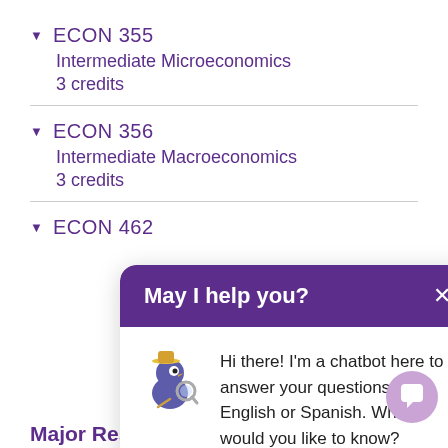▼ ECON 355
Intermediate Microeconomics
3 credits
▼ ECON 356
Intermediate Macroeconomics
3 credits
▼ ECON 462
[Figure (screenshot): Chatbot popup with header 'May I help you?' and message 'Hi there! I'm a chatbot here to answer your questions in English or Spanish. What would you like to know?' with a bird mascot icon and close button]
Major Restricted Electives